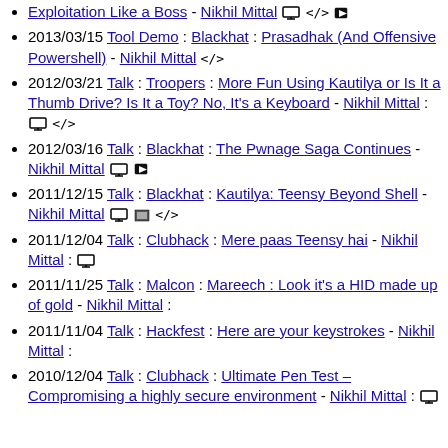Exploitation Like a Boss - Nikhil Mittal [monitor] </> [video]
2013/03/15 Tool Demo : Blackhat : Prasadhak (And Offensive Powershell) - Nikhil Mittal </>
2012/03/21 Talk : Troopers : More Fun Using Kautilya or Is It a Thumb Drive? Is It a Toy? No, It's a Keyboard - Nikhil Mittal : [monitor] </>
2012/03/16 Talk : Blackhat : The Pwnage Saga Continues - Nikhil Mittal [monitor] [video]
2011/12/15 Talk : Blackhat : Kautilya: Teensy Beyond Shell - Nikhil Mittal [monitor] [screen] </>
2011/12/04 Talk : Clubhack : Mere paas Teensy hai - Nikhil Mittal : [monitor]
2011/11/25 Talk : Malcon : Mareech : Look it's a HID made up of gold - Nikhil Mittal :
2011/11/04 Talk : Hackfest : Here are your keystrokes - Nikhil Mittal :
2010/12/04 Talk : Clubhack : Ultimate Pen Test – Compromising a highly secure environment - Nikhil Mittal : [monitor]